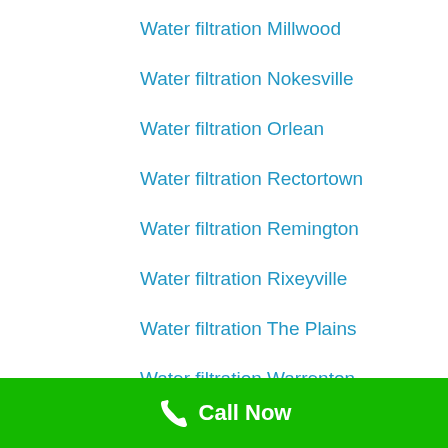Water filtration Millwood
Water filtration Nokesville
Water filtration Orlean
Water filtration Rectortown
Water filtration Remington
Water filtration Rixeyville
Water filtration The Plains
Water filtration Warrenton
Water filtration Warrenton, VA
Call Now